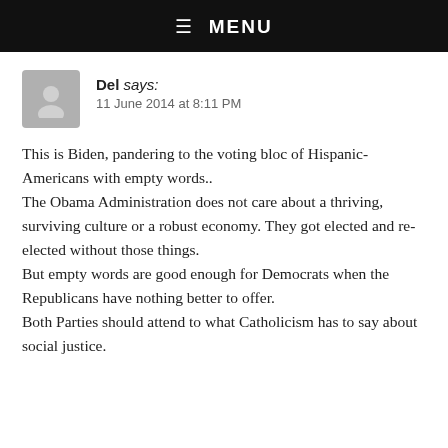☰ MENU
Del says:
11 June 2014 at 8:11 PM
This is Biden, pandering to the voting bloc of Hispanic-Americans with empty words..
The Obama Administration does not care about a thriving, surviving culture or a robust economy. They got elected and re-elected without those things.
But empty words are good enough for Democrats when the Republicans have nothing better to offer.
Both Parties should attend to what Catholicism has to say about social justice.